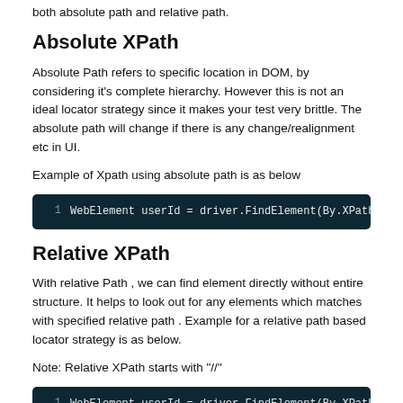both absolute path and relative path.
Absolute XPath
Absolute Path refers to specific location in DOM, by considering it's complete hierarchy. However this is not an ideal locator strategy since it makes your test very brittle. The absolute path will change if there is any change/realignment etc in UI.
Example of Xpath using absolute path is as below
[Figure (screenshot): Code block showing: WebElement userId = driver.FindElement(By.XPath(]
Relative XPath
With relative Path , we can find element directly without entire structure. It helps to look out for any elements which matches with specified relative path . Example for a relative path based locator strategy is as below.
Note: Relative XPath starts with "//"
[Figure (screenshot): Code block showing two lines: 1. WebElement userId = driver.FindElement(By.XPath( 2. // This retrieve first element with input tag.]